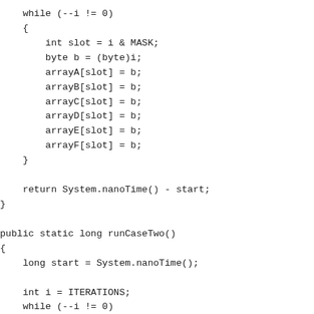while (--i != 0)
        {
            int slot = i & MASK;
            byte b = (byte)i;
            arrayA[slot] = b;
            arrayB[slot] = b;
            arrayC[slot] = b;
            arrayD[slot] = b;
            arrayE[slot] = b;
            arrayF[slot] = b;
        }

        return System.nanoTime() - start;
    }

    public static long runCaseTwo()
    {
        long start = System.nanoTime();

        int i = ITERATIONS;
        while (--i != 0)
        {
            int slot = i & MASK;
            byte b = (byte)i;
            arrayA[slot] = b;
            arrayB[slot] = b;
            arrayC[slot] = b;
        }